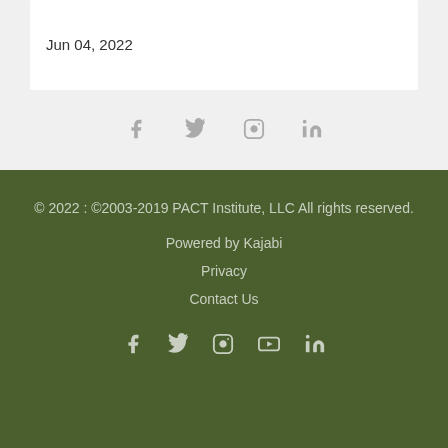Jun 04, 2022
[Figure (infographic): Social media icons (Facebook, Twitter, Instagram, LinkedIn) in gray on light gray background]
© 2022 : ©2003-2019 PACT Institute, LLC All rights reserved.

Powered by Kajabi

Privacy

Contact Us
[Figure (infographic): Social media icons (Facebook, Twitter, Instagram, YouTube, LinkedIn) in light color on dark green background]